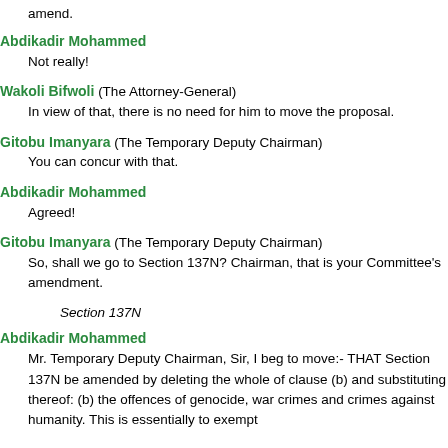amend.
Abdikadir Mohammed
Not really!
Wakoli Bifwoli (The Attorney-General)
In view of that, there is no need for him to move the proposal.
Gitobu Imanyara (The Temporary Deputy Chairman)
You can concur with that.
Abdikadir Mohammed
Agreed!
Gitobu Imanyara (The Temporary Deputy Chairman)
So, shall we go to Section 137N? Chairman, that is your Committee's amendment.
Section 137N
Abdikadir Mohammed
Mr. Temporary Deputy Chairman, Sir, I beg to move:- THAT Section 137N be amended by deleting the whole of clause (b) and substituting thereof: (b) the offences of genocide, war crimes and crimes against humanity. This is essentially to exempt